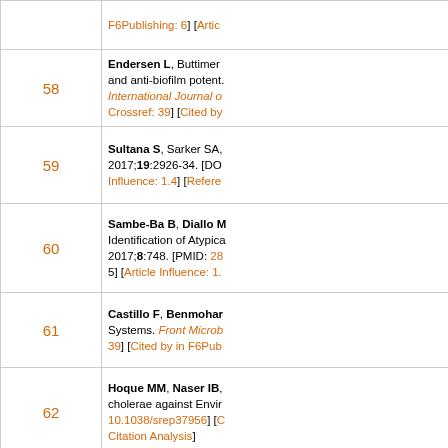| Number | Reference |
| --- | --- |
|  | F6Publishing: 6] [Artic... |
| 58 | Endersen L, Buttimer... and anti-biofilm potent... International Journal o... Crossref: 39] [Cited by... |
| 59 | Sultana S, Sarker SA,... 2017;19:2926-34. [DO... Influence: 1.4] [Refere... |
| 60 | Sambe-Ba B, Diallo M... Identification of Atypica... 2017;8:748. [PMID: 28... 5] [Article Influence: 1.... |
| 61 | Castillo F, Benmohar... Systems. Front Microb... 39] [Cited by in F6Pub... |
| 62 | Hoque MM, Naser IB,... cholerae against Envir... 10.1038/srep37956] [C... Citation Analysis] |
| 63 | Azarian T, Ali A, John... Alam MT, Morris JG,... of pre-pandemic chol... |